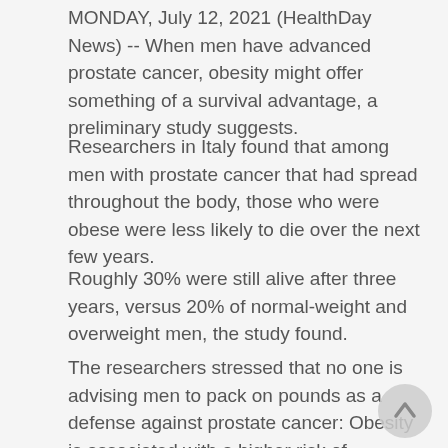MONDAY, July 12, 2021 (HealthDay News) -- When men have advanced prostate cancer, obesity might offer something of a survival advantage, a preliminary study suggests.
Researchers in Italy found that among men with prostate cancer that had spread throughout the body, those who were obese were less likely to die over the next few years.
Roughly 30% were still alive after three years, versus 20% of normal-weight and overweight men, the study found.
The researchers stressed that no one is advising men to pack on pounds as a defense against prostate cancer: Obesity is associated with a higher risk of developing and dying from various chronic ills, including a number of cancers.